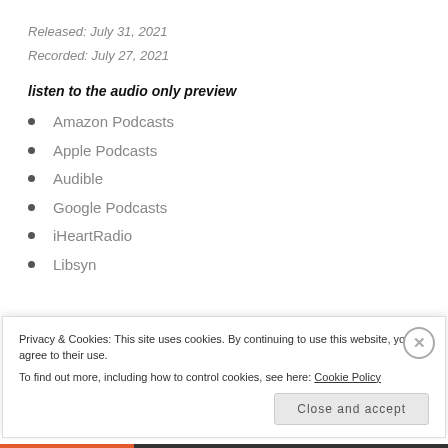Released: July 31, 2021
Recorded: July 27, 2021
listen to the audio only preview
Amazon Podcasts
Apple Podcasts
Audible
Google Podcasts
iHeartRadio
Libsyn
Privacy & Cookies: This site uses cookies. By continuing to use this website, you agree to their use.
To find out more, including how to control cookies, see here: Cookie Policy
Close and accept